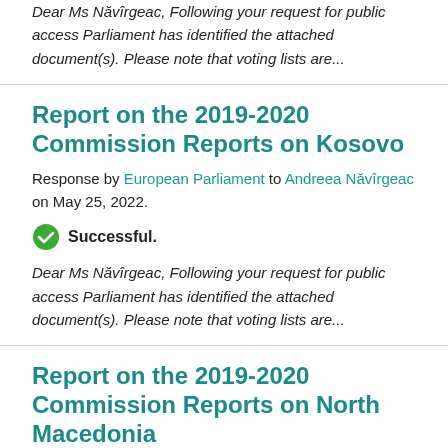Dear Ms Năvîrgeac, Following your request for public access Parliament has identified the attached document(s). Please note that voting lists are...
Report on the 2019-2020 Commission Reports on Kosovo
Response by European Parliament to Andreea Năvîrgeac on May 25, 2022.
Successful.
Dear Ms Năvîrgeac, Following your request for public access Parliament has identified the attached document(s). Please note that voting lists are...
Report on the 2019-2020 Commission Reports on North Macedonia